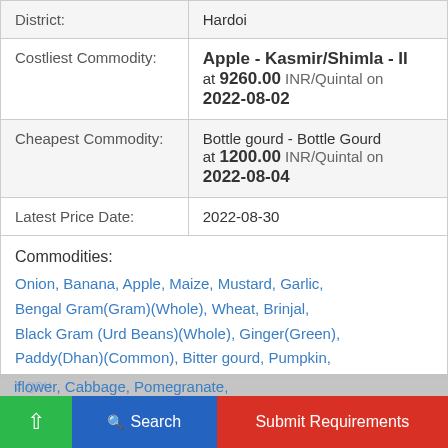| Field | Value |
| --- | --- |
| District: | Hardoi |
| Costliest Commodity: | Apple - Kasmir/Shimla - II at 9260.00 INR/Quintal on 2022-08-02 |
| Cheapest Commodity: | Bottle gourd - Bottle Gourd at 1200.00 INR/Quintal on 2022-08-04 |
| Latest Price Date: | 2022-08-30 |
Commodities: Onion, Banana, Apple, Maize, Mustard, Garlic, Bengal Gram(Gram)(Whole), Wheat, Brinjal, Black Gram (Urd Beans)(Whole), Ginger(Green), Paddy(Dhan)(Common), Bitter gourd, Pumpkin, [Bottle gourd], [Cauliflower], Cabbage, Pomegranate,